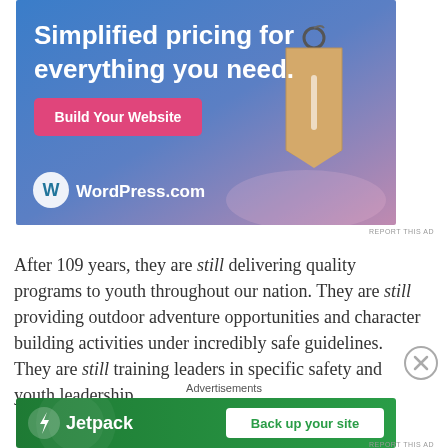[Figure (illustration): WordPress.com advertisement banner with blue-to-purple gradient background, a price tag graphic, text 'Simplified pricing for everything you need.' and a pink 'Build Your Website' button with WordPress.com logo.]
REPORT THIS AD
After 109 years, they are still delivering quality programs to youth throughout our nation. They are still providing outdoor adventure opportunities and character building activities under incredibly safe guidelines. They are still training leaders in specific safety and youth leadership
Advertisements
[Figure (illustration): Jetpack advertisement banner with green background, Jetpack logo on the left and a 'Back up your site' button on the right.]
REPORT THIS AD